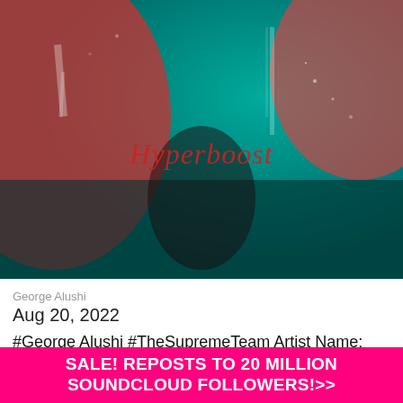[Figure (illustration): Abstract music album art with teal and red/coral color palette, dark atmospheric textures, with cursive 'Hyperboost' text written in red in the center]
George Alushi
Aug 20, 2022
#George Alushi #TheSupremeTeam Artist Name: George Alushi Who are you? Happy , grazy , and creative all the time Where are you from? Im from greece. The music scene in Greece is most of hip
SALE! REPOSTS TO 20 MILLION SOUNDCLOUD FOLLOWERS!>>